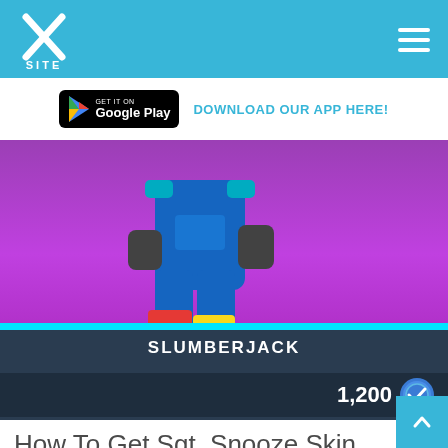XSITE
[Figure (screenshot): Google Play Store download badge]
DOWNLOAD OUR APP HERE!
[Figure (photo): Fortnite Slumberjack skin character showing blue outfit with gloves on purple/magenta gradient background]
SLUMBERJACK
1,200 V-Bucks
How To Get Sgt. Snooze Skin Fortnite